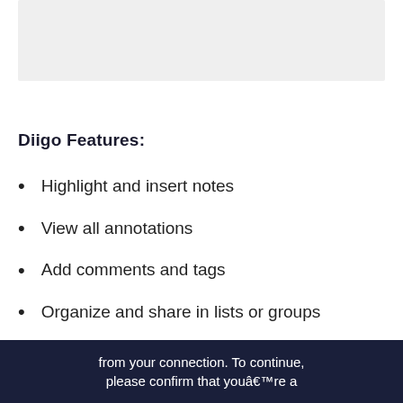[Figure (other): Light gray placeholder box at top of page]
Diigo Features:
Highlight and insert notes
View all annotations
Add comments and tags
Organize and share in lists or groups
from your connection. To continue, please confirm that youâ€™re a